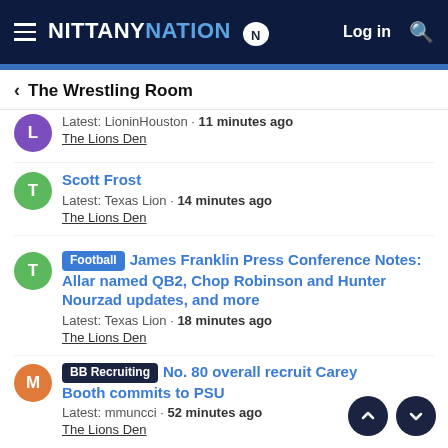NITTANY NATION
The Wrestling Room
Latest: LioninHouston · 11 minutes ago
The Lions Den
Scott Frost
Latest: Texas Lion · 14 minutes ago
The Lions Den
Football James Franklin Press Conference Notes: Allar named QB2, Chop Robinson and Hunter Nourzad updates, and more
Latest: Texas Lion · 18 minutes ago
The Lions Den
BB Recruiting No. 80 overall recruit Carey Booth commits to PSU
Latest: mmuncci · 52 minutes ago
The Lions Den